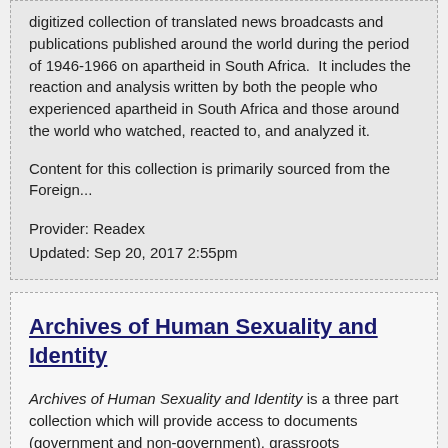digitized collection of translated news broadcasts and publications published around the world during the period of 1946-1966 on apartheid in South Africa.  It includes the reaction and analysis written by both the people who experienced apartheid in South Africa and those around the world who watched, reacted to, and analyzed it.

Content for this collection is primarily sourced from the Foreign...
Provider: Readex
Updated: Sep 20, 2017 2:55pm
Archives of Human Sexuality and Identity
Archives of Human Sexuality and Identity is a three part collection which will provide access to documents (government and non-government), grassroots newsletters and journals, periodicals, literature, diaries, personal papers, and ephemeral material related to the LGBTQ movement in North America and beyond.